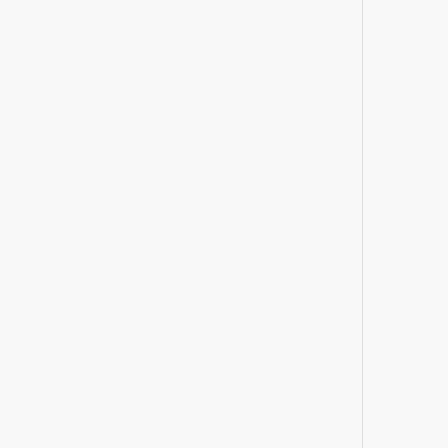smaller the spacing, the higher the potential extraction ratio (without the required use of remote controlled mucking). However, a higher extraction ratio means that smaller pillars are left behind, which raise potential stability issues.
In some cases, the stopes are designed to be stacked. If this is the case, mine engineers will often make the top sill from one stope into the bottom sill for the next stope. Access to the orebody from the top sill can thus be utilized to gain access to the ore during the extraction from the next sill.
Extraction of the ore is done from drawpoints at the bottom sill. The design of successive stopes is very important to ensure that equipment can get access to the blasted ore after blasts. In some cases, the ore may extend below the bottom sill, in which case a cut of approximately 12 ft can be taken out of the sill. This ore will be extracted using the system in place, and waste material will be brought in to replace the cut made in the sill[5].